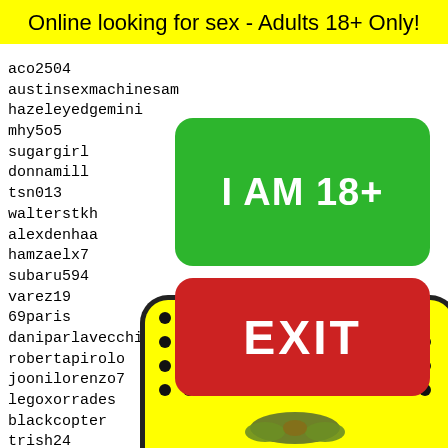Online looking for sex - Adults 18+ Only!
aco2504
austinsexmachinesam
hazeleyedgemini
mhy5o5
sugargirl
donnamill
tsn013
walterstkh
alexdenhaa
hamzaelx7
subaru594
varez19
69paris
daniparlavecchia
robertapirolo
joonilorenzo7
legoxorrades
blackcopter
trish24
HORSEP'AY
snazzy
gman23
michel
maryyc
beatri
fyleii
[Figure (other): Green button labeled I AM 18+]
[Figure (other): Red button labeled EXIT]
35175 35176 35177 35178 35179
[Figure (illustration): Yellow emoji-like face with black dots pattern and bowtie at bottom]